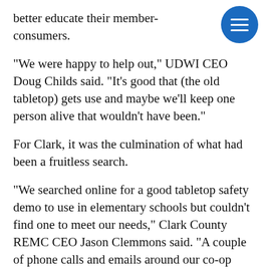better educate their member-consumers.
“We were happy to help out,” UDWI CEO Doug Childs said. “It’s good that (the old tabletop) gets use and maybe we’ll keep one person alive that wouldn’t have been.”
For Clark, it was the culmination of what had been a fruitless search.
“We searched online for a good tabletop safety demo to use in elementary schools but couldn’t find one to meet our needs,” Clark County REMC CEO Jason Clemmons said. “A couple of phone calls and emails around our co-op family and